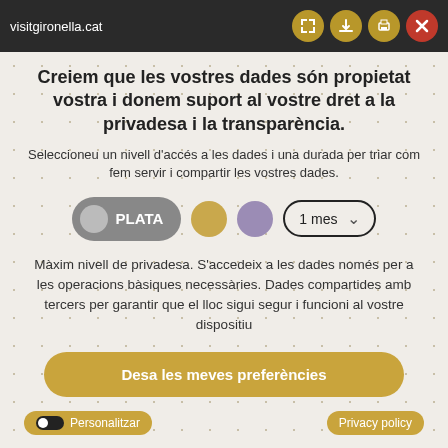visitgironella.cat
Creiem que les vostres dades són propietat vostra i donem suport al vostre dret a la privadesa i la transparència.
Seleccioneu un nivell d'accés a les dades i una durada per triar com fem servir i compartir les vostres dades.
[Figure (screenshot): Privacy level selector with PLATA button (grey toggle), gold circle, purple circle, and 1 mes dropdown]
Màxim nivell de privadesa. S'accedeix a les dades només per a les operacions bàsiques necessàries. Dades compartides amb tercers per garantir que el lloc sigui segur i funcioni al vostre dispositiu
Desa les meves preferències
Personalitzar
Privacy policy